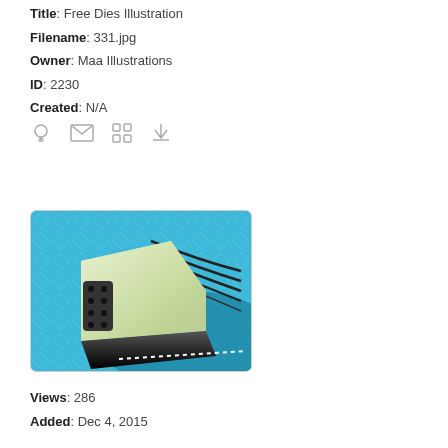Title: Free Dies Illustration
Filename: 331.jpg
Owner: Maa Illustrations
ID: 2230
Created: N/A
[Figure (illustration): Illustration of a die cutting machine (whistle-shaped device) in cream/white color with black dots panel on a blue diamond-patterned background with dark curved lines]
Views: 286
Added: Dec 4, 2015